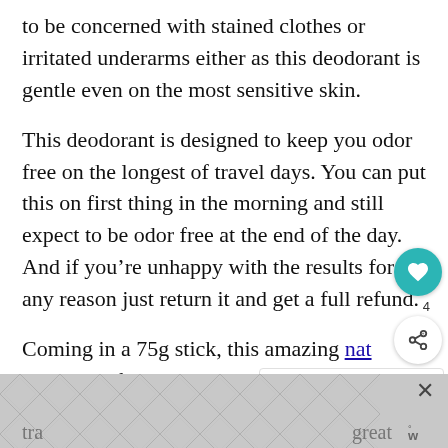to be concerned with stained clothes or irritated underarms either as this deodorant is gentle even on the most sensitive skin.
This deodorant is designed to keep you odor free on the longest of travel days. You can put this on first thing in the morning and still expect to be odor free at the end of the day. And if you’re unhappy with the results for any reason just return it and get a full refund.
Coming in a 75g stick, this amazing natural deodorant from Beauty by Earth is the perfect TSA travel size deodorant and is ideal for busy tra... great w°
[Figure (other): Ad banner with geometric diamond/hexagon pattern in grey tones at bottom of page, with X close button and logo mark]